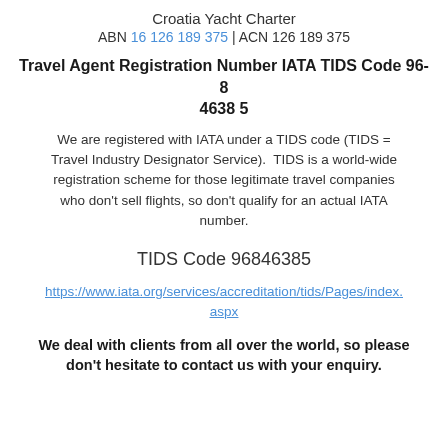Croatia Yacht Charter
ABN 16 126 189 375 | ACN 126 189 375
Travel Agent Registration Number IATA TIDS Code 96-8 4638 5
We are registered with IATA under a TIDS code (TIDS = Travel Industry Designator Service).  TIDS is a world-wide registration scheme for those legitimate travel companies who don't sell flights, so don't qualify for an actual IATA number.
TIDS Code 96846385
https://www.iata.org/services/accreditation/tids/Pages/index.aspx
We deal with clients from all over the world, so please don't hesitate to contact us with your enquiry.